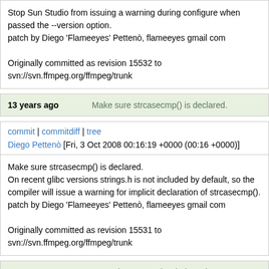Stop Sun Studio from issuing a warning during configure when passed the --version option.
patch by Diego 'Flameeyes' Pettenò, flameeyes gmail com

Originally committed as revision 15532 to svn://svn.ffmpeg.org/ffmpeg/trunk
13 years ago    Make sure strcasecmp() is declared.
commit | commitdiff | tree
Diego Pettenò [Fri, 3 Oct 2008 00:16:19 +0000 (00:16 +0000)]
Make sure strcasecmp() is declared.
On recent glibc versions strings.h is not included by default, so the compiler will issue a warning for implicit declaration of strcasecmp().
patch by Diego 'Flameeyes' Pettenò, flameeyes gmail com

Originally committed as revision 15531 to svn://svn.ffmpeg.org/ffmpeg/trunk
13 years ago    atrac3dec: cosmetics: indentation
commit | commitdiff | tree